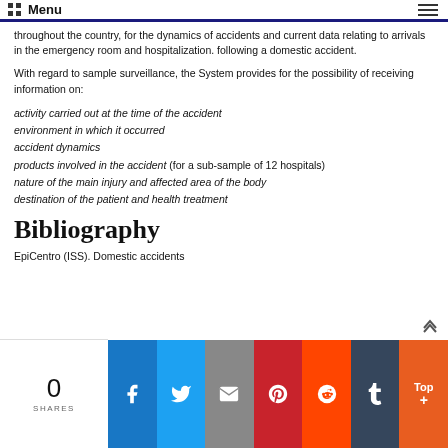Menu
throughout the country, for the dynamics of accidents and current data relating to arrivals in the emergency room and hospitalization. following a domestic accident.
With regard to sample surveillance, the System provides for the possibility of receiving information on:
activity carried out at the time of the accident
environment in which it occurred
accident dynamics
products involved in the accident (for a sub-sample of 12 hospitals)
nature of the main injury and affected area of the body
destination of the patient and health treatment
Bibliography
EpiCentro (ISS). Domestic accidents
0 SHARES